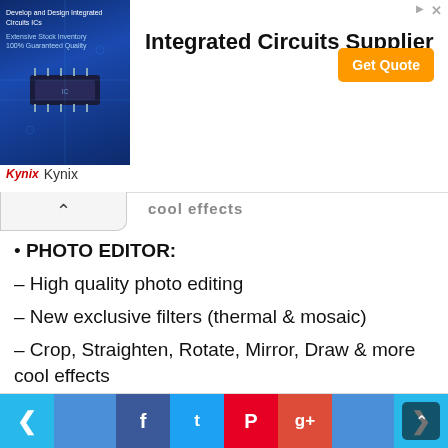[Figure (screenshot): Advertisement banner for Kynix Integrated Circuits Supplier with chip image, 'Get Quote' orange button, and Kynix logo at bottom left]
[Figure (screenshot): Collapse/chevron-up button below ad banner]
PHOTO EDITOR:
– High quality photo editing
– New exclusive filters (thermal & mosaic)
– Crop, Straighten, Rotate, Mirror, Draw & more cool effects
[Figure (screenshot): Terminal window screenshot showing: cifuzz run Log4jFuzzer, Started Log4jFuzzer ..., Finished, run took 0m14s. Dark background with colored traffic-light dots.]
[Figure (screenshot): Navigation bar with previous/next arrows (blue), Facebook, Twitter, Pinterest, Google+ share buttons, and page navigation text]